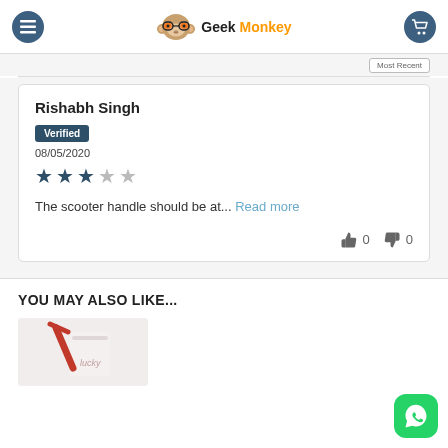Geek Monkey
Rishabh Singh
Verified
08/05/2020
★★★☆☆
The scooter handle should be at... Read more
👍 0 👎 0
YOU MAY ALSO LIKE...
[Figure (photo): Product thumbnail image at bottom of page]
[Figure (logo): WhatsApp floating button at bottom right]